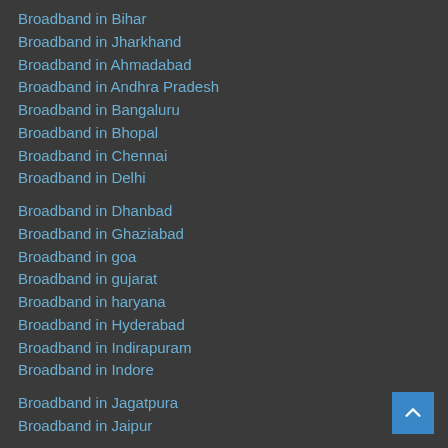Broadband in Bihar
Broadband in Jharkhand
Broadband in Ahmadabad
Broadband in Andhra Pradesh
Broadband in Bangaluru
Broadband in Bhopal
Broadband in Chennai
Broadband in Delhi
Broadband in Dhanbad
Broadband in Ghaziabad
Broadband in goa
Broadband in gujarat
Broadband in haryana
Broadband in Hyderabad
Broadband in Indirapuram
Broadband in Indore
Broadband in Jagatpura
Broadband in Jaipur